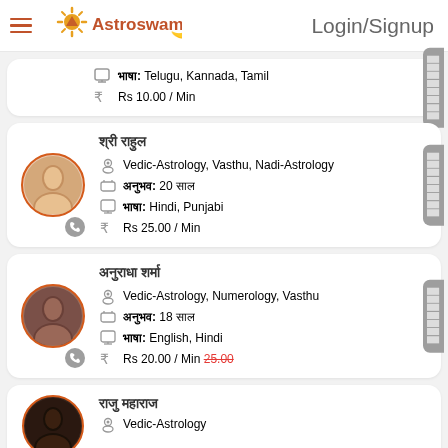Login/Signup
[Figure (logo): Astroswami logo with sun/moon icon and stylized text]
भाषा: Telugu, Kannada, Tamil
Rs 10.00 / Min
ज्योतिषी नाम (Hindi script)
Vedic-Astrology, Vasthu, Nadi-Astrology
अनुभव: 20 साल
भाषा: Hindi, Punjabi
Rs 25.00 / Min
ज्योतिषी नाम (Hindi script)
Vedic-Astrology, Numerology, Vasthu
अनुभव: 18 साल
भाषा: English, Hindi
Rs 20.00 / Min 25.00 (strikethrough)
नाम (Hindi script)
Vedic-Astrology